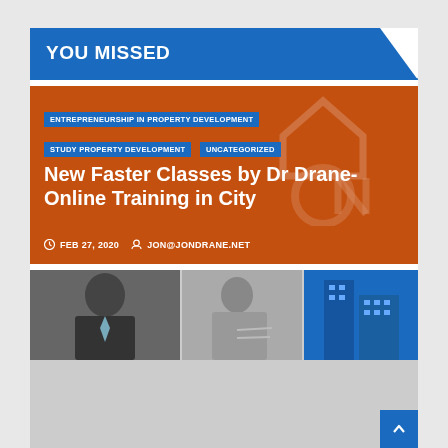YOU MISSED
[Figure (illustration): Article card with orange/brown background featuring ON logo watermark, category tags, article title, date and author metadata]
ENTREPRENEURSHIP IN PROPERTY DEVELOPMENT
STUDY PROPERTY DEVELOPMENT
UNCATEGORIZED
New Faster Classes by Dr Drane- Online Training in City
FEB 27, 2020   JON@JONDRANE.NET
[Figure (photo): Partial view of a second article card showing three photos: man in suit, person writing, and blue building/skyscraper]